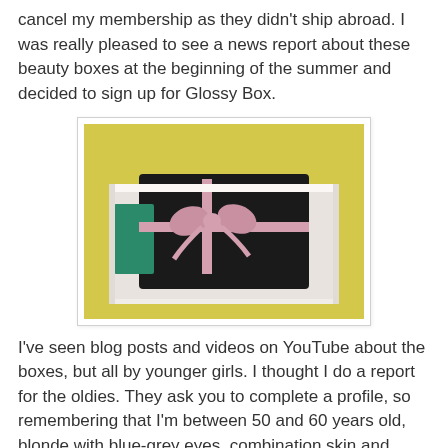cancel my membership as they didn't ship abroad. I was really pleased to see a news report about these beauty boxes at the beginning of the summer and decided to sign up for Glossy Box.
[Figure (photo): A white gift box on a yellow surface containing dark fabric/items tied with a pink ribbon bow, with a green item visible inside.]
I've seen blog posts and videos on YouTube about the boxes, but all by younger girls. I thought I do a report for the oldies. They ask you to complete a profile, so remembering that I'm between 50 and 60 years old, blonde with blue-grey eyes, combination skin and describe myself as smart casual, this is what I got this month...